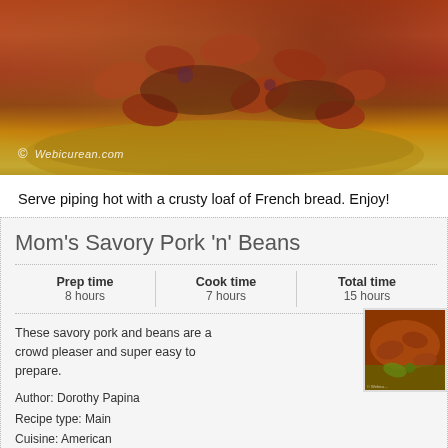[Figure (photo): Close-up photo of a bowl of baked beans with a yellow/cream colored dish, watermark reading © Webicurean.com at the bottom left]
Serve piping hot with a crusty loaf of French bread. Enjoy!
Mom's Savory Pork 'n' Beans
| Prep time | Cook time | Total time |
| --- | --- | --- |
| 8 hours | 7 hours | 15 hours |
These savory pork and beans are a crowd pleaser and super easy to prepare.
Author: Dorothy Papina
Recipe type: Main
Cuisine: American
Serves: 10-12
Ingredients
1 lb pink beans, soaked overnight